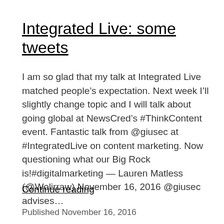Integrated Live: some tweets
I am so glad that my talk at Integrated Live matched people’s expectation. Next week I’ll slightly change topic and I will talk about going global at NewsCred’s #ThinkContent event. Fantastic talk from @giusec at #IntegratedLive on content marketing. Now questioning what our Big Rock is!#digitalmarketing — Lauren Matless (@Wolirraw) November 16, 2016 @giusec advises…
Continue reading
Published November 16, 2016